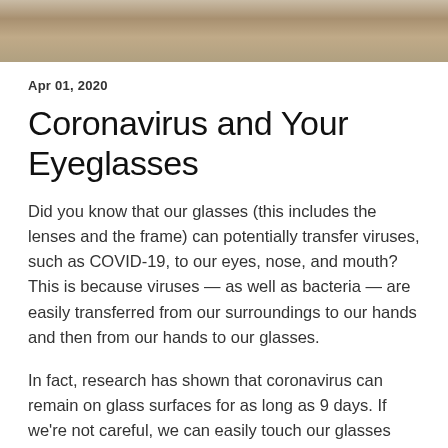[Figure (photo): Cropped photo of people, partially visible at top of page]
Apr 01, 2020
Coronavirus and Your Eyeglasses
Did you know that our glasses (this includes the lenses and the frame) can potentially transfer viruses, such as COVID-19, to our eyes, nose, and mouth? This is because viruses — as well as bacteria — are easily transferred from our surroundings to our hands and then from our hands to our glasses.
In fact, research has shown that coronavirus can remain on glass surfaces for as long as 9 days. If we're not careful, we can easily touch our glasses then touch our eyes, nose, or mouth, thus continuing the contagion cycle.